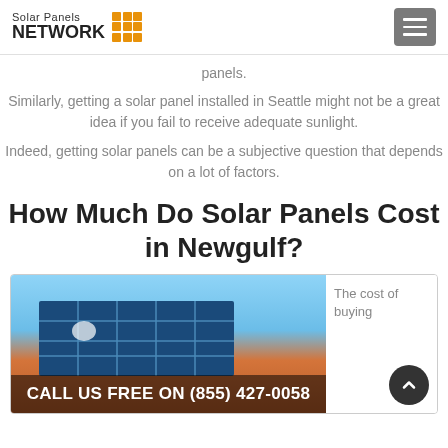Solar Panels NETWORK
panels.
Similarly, getting a solar panel installed in Seattle might not be a great idea if you fail to receive adequate sunlight.
Indeed, getting solar panels can be a subjective question that depends on a lot of factors.
How Much Do Solar Panels Cost in Newgulf?
[Figure (photo): Solar panels installed on an orange tiled roof under a blue sky]
The cost of buying
CALL US FREE ON (855) 427-0058